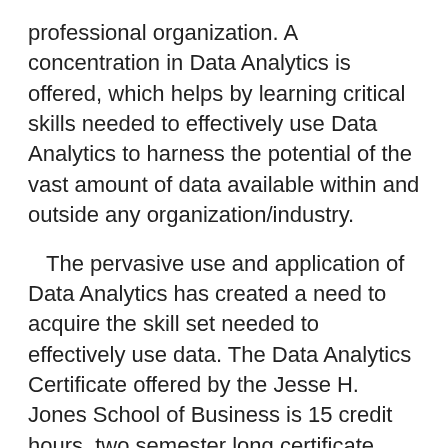professional organization. A concentration in Data Analytics is offered, which helps by learning critical skills needed to effectively use Data Analytics to harness the potential of the vast amount of data available within and outside any organization/industry.
The pervasive use and application of Data Analytics has created a need to acquire the skill set needed to effectively use data. The Data Analytics Certificate offered by the Jesse H. Jones School of Business is 15 credit hours, two semester long certificate program designed to meet the need for understanding and using Data Analytics in a variety of fields and industries.
For further information, please contact